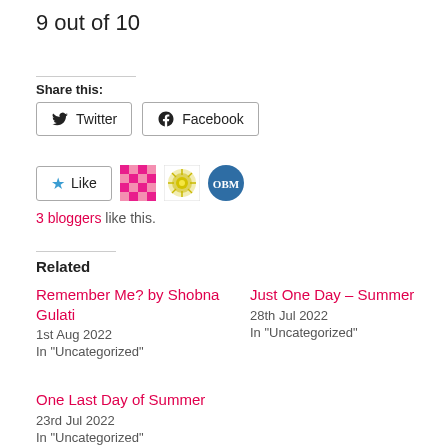9 out of 10
Share this:
Twitter
Facebook
3 bloggers like this.
Related
Remember Me? by Shobna Gulati
1st Aug 2022
In "Uncategorized"
Just One Day – Summer
28th Jul 2022
In "Uncategorized"
One Last Day of Summer
23rd Jul 2022
In "Uncategorized"